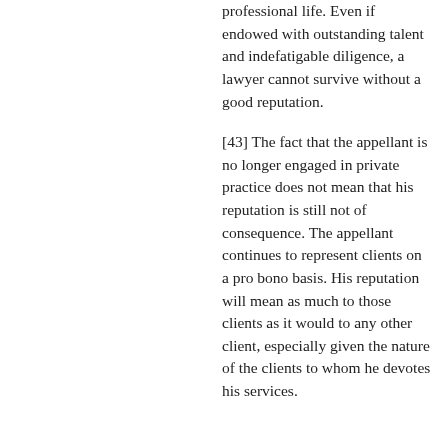professional life. Even if endowed with outstanding talent and indefatigable diligence, a lawyer cannot survive without a good reputation.
[43] The fact that the appellant is no longer engaged in private practice does not mean that his reputation is still not of consequence. The appellant continues to represent clients on a pro bono basis. His reputation will mean as much to those clients as it would to any other client, especially given the nature of the clients to whom he devotes his services.